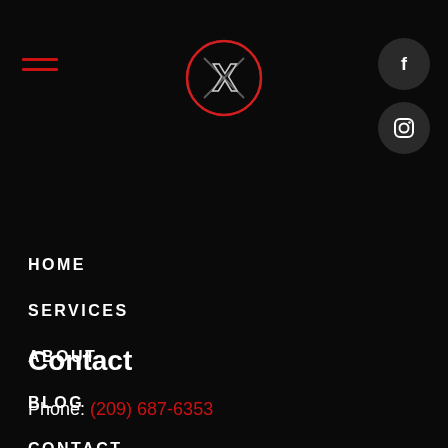[Figure (logo): Hamburger menu icon with two red horizontal lines]
[Figure (logo): Circular logo with X lettermark in red outline on dark background]
[Figure (logo): Facebook social media button - dark circle with white f icon]
[Figure (logo): Instagram social media button - dark circle with white Instagram icon]
HOME
SERVICES
ABOUT
BLOG
CONTACT
TERMS AND CONDITIONS
Contact
Phone: (209) 687-6353